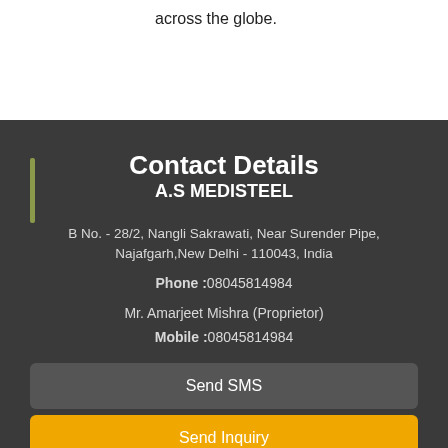across the globe.
Contact Details
A.S MEDISTEEL
B No. - 28/2, Nangli Sakrawati, Near Surender Pipe, Najafgarh,New Delhi - 110043, India
Phone :08045814984
Mr. Amarjeet Mishra (Proprietor)
Mobile :08045814984
Send SMS
Send Inquiry